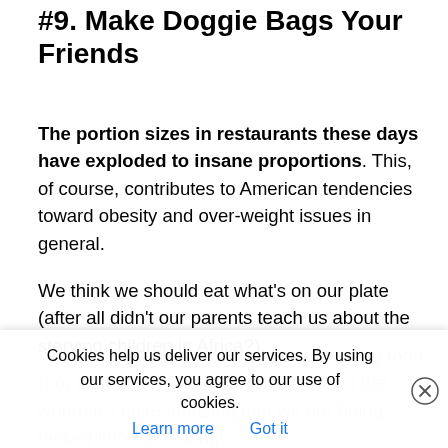#9. Make Doggie Bags Your Friends
The portion sizes in restaurants these days have exploded to insane proportions. This, of course, contributes to American tendencies toward obesity and over-weight issues in general.
We think we should eat what’s on our plate (after all didn’t our parents teach us about the starving children in Africa?).
While I certainly wouldn’t promote wasting food (nor devalue the hunger-issues around the world) it’s quite amazing that we are being tricked into overeating!
Cookies help us deliver our services. By using our services, you agree to our use of cookies. Learn more  Got it